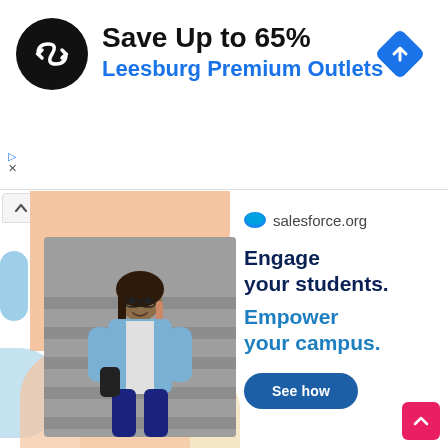[Figure (screenshot): Top advertisement banner: circular black icon with double-arrow logo, text 'Save Up to 65%' in bold black and 'Leesburg Premium Outlets' in blue, blue diamond navigation icon on right, play and close icons on left.]
[Figure (screenshot): Salesforce.org advertisement: left side shows decorative abstract shapes (peach, cream, light blue) and photo of smiling young woman in denim jacket sitting on stairs. Right side shows Salesforce.org logo, headline 'Engage your students. Empower your campus.' in dark navy and blue, and a rounded 'See how' button in dark blue.]